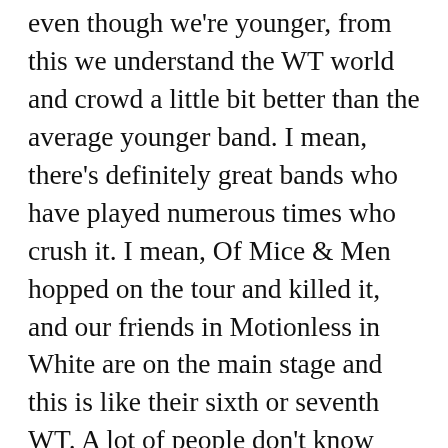even though we're younger, from this we understand the WT world and crowd a little bit better than the average younger band. I mean, there's definitely great bands who have played numerous times who crush it. I mean, Of Mice & Men hopped on the tour and killed it, and our friends in Motionless in White are on the main stage and this is like their sixth or seventh WT. A lot of people don't know that, but they've played WT almost every single year for the past seven years. They've just done different stages, different dates, and it's just grown and grown and grown. And that's our goal, every year to do a little bigger, to have more interactive crowds, to really showcase that, over time, our band is growing. We're not that band that just started